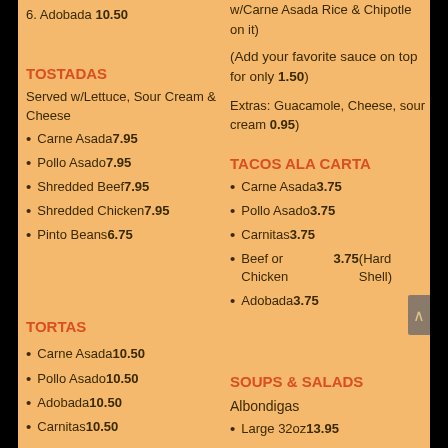6. Adobada 10.50
w/Carne Asada Rice & Chipotle on it)
(Add your favorite sauce on top for only 1.50)
TOSTADAS
Served w/Lettuce, Sour Cream & Cheese
Carne Asada 7.95
Pollo Asado 7.95
Shredded Beef 7.95
Shredded Chicken 7.95
Pinto Beans 6.75
Extras: Guacamole, Cheese, sour cream 0.95)
TACOS ALA CARTA
Carne Asada 3.75
Pollo Asado 3.75
Carnitas 3.75
Beef or Chicken 3.75 (Hard Shell)
Adobada 3.75
TORTAS
Carne Asada 10.50
Pollo Asado 10.50
Adobada 10.50
Carnitas 10.50
SOUPS & SALADS
Albondigas
Large 32oz 13.95